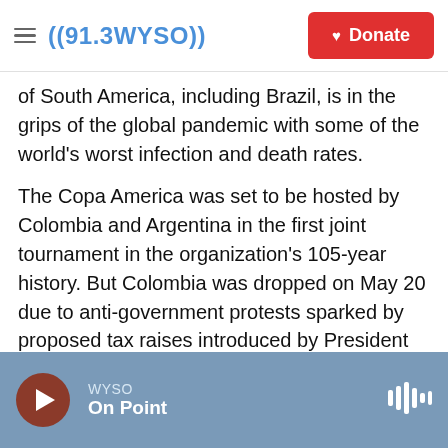((91.3WYSO)) | Donate
of South America, including Brazil, is in the grips of the global pandemic with some of the world's worst infection and death rates.
The Copa America was set to be hosted by Colombia and Argentina in the first joint tournament in the organization's 105-year history. But Colombia was dropped on May 20 due to anti-government protests sparked by proposed tax raises introduced by President Iván Duque. And on Sunday, the soccer federation, CONMEBOL, removed Argentina as co-host due to the "present circumstances" there.
WYSO | On Point